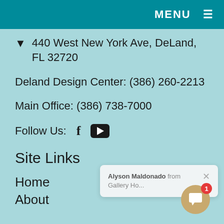MENU ≡
440 West New York Ave, DeLand, FL 32720
Deland Design Center: (386) 260-2213
Main Office: (386) 738-7000
Follow Us:
Site Links
Home
About
[Figure (screenshot): Chat popup notification showing 'Alyson Maldonado from Gallery Ho...' with a close button (×), and a gold chat button with notification badge showing '1']